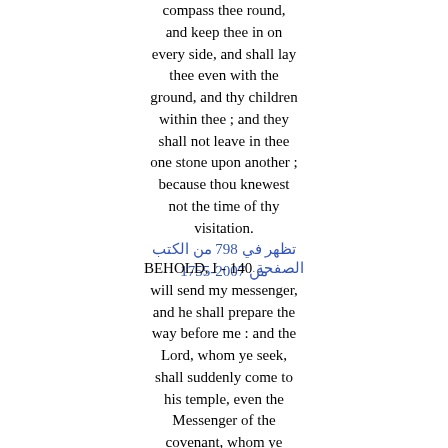compass thee round, and keep thee in on every side, and shall lay thee even with the ground, and thy children within thee ; and they shall not leave in thee one stone upon another ; because thou knewest not the time of thy visitation.
تظهر في 798 من الكتب من 1755-2007
BEHOLD, I - 140 الصفحة
will send my messenger, and he shall prepare the way before me : and the Lord, whom ye seek, shall suddenly come to his temple, even the Messenger of the covenant, whom ye delight in : behold, he